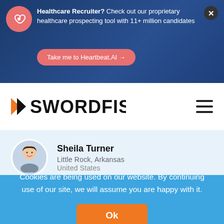Healthcare Recruiter? Check out our proprietary healthcare prospecting tool with 11+ million candidates
Take me to Heartbeat.AI →
[Figure (logo): Swordfish logo with orange arrow and bold SWORDFISH text]
[Figure (illustration): Hamburger menu icon (three horizontal lines)]
[Figure (illustration): User avatar illustration - cartoon person with dark hair]
Sheila Turner
Little Rock, Arkansas
United States
Cookies are being used on our website. By continuing use of our site, we will assume you are happy with it.
Ok